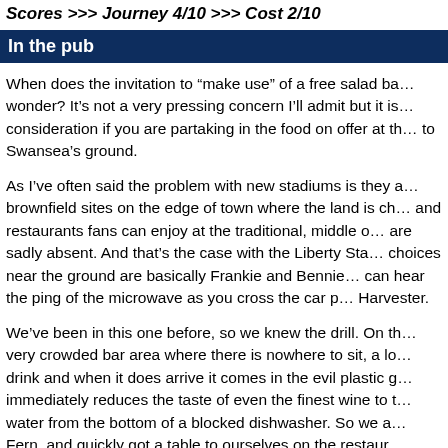Scores >>> Journey 4/10 >>> Cost 2/10
In the pub
When does the invitation to “make use” of a free salad bar expire, I wonder? It’s not a very pressing concern I’ll admit but it is a pertinent consideration if you are partaking in the food on offer at the pub adjacent to Swansea’s ground.
As I’ve often said the problem with new stadiums is they are built on brownfield sites on the edge of town where the land is cheap and the pubs and restaurants fans can enjoy at the traditional, middle of town grounds are sadly absent. And that’s the case with the Liberty Stadium — your choices near the ground are basically Frankie and Bennies, where you can hear the ping of the microwave as you cross the car park, or the Harvester.
We’ve been in this one before, so we knew the drill. On the upside, a very crowded bar area where there is nowhere to sit, a long wait for your drink and when it does arrive it comes in the evil plastic glass which immediately reduces the taste of even the finest wine to that of dirty water from the bottom of a blocked dishwasher. So we an Fern, and quickly got a table to ourselves on the restaurant...